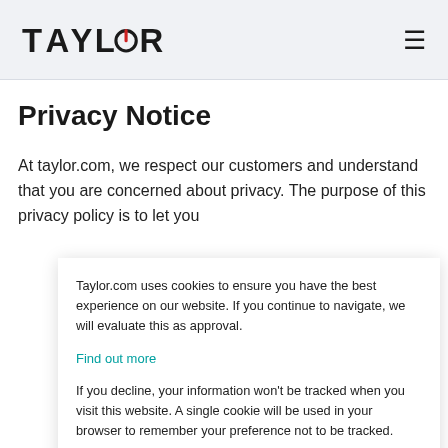TAYLOR (logo with hamburger menu icon)
Privacy Notice
At taylor.com, we respect our customers and understand that you are concerned about privacy. The purpose of this privacy policy is to let you
Taylor.com uses cookies to ensure you have the best experience on our website. If you continue to navigate, we will evaluate this as approval.
Find out more
If you decline, your information won't be tracked when you visit this website. A single cookie will be used in your browser to remember your preference not to be tracked.
Accept
Decline